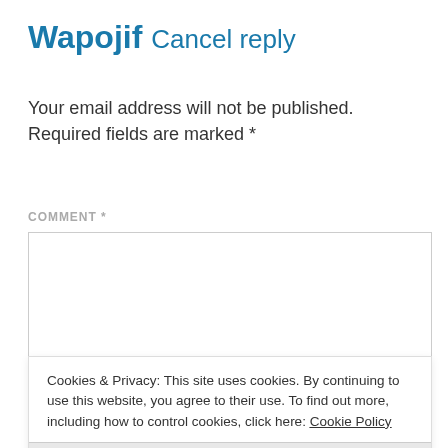Wapojif Cancel reply
Your email address will not be published. Required fields are marked *
COMMENT *
Cookies & Privacy: This site uses cookies. By continuing to use this website, you agree to their use. To find out more, including how to control cookies, click here: Cookie Policy
Accept & Close